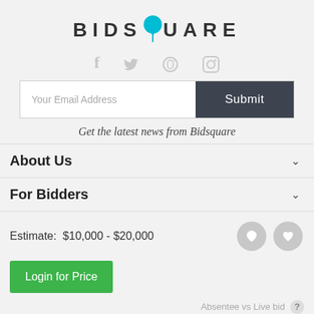[Figure (logo): Bidsquare logo with teal balloon replacing the O in SQUARE]
[Figure (infographic): Social media icons: Facebook, Twitter, Pinterest, Instagram in light gray]
Your Email Address
Submit
Get the latest news from Bidsquare
About Us
For Bidders
Estimate:  $10,000 - $20,000
Login for Price
Absentee vs Live bid ?